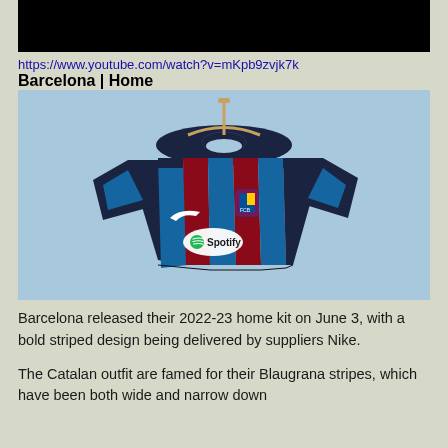[Figure (screenshot): Black video thumbnail rectangle]
https://www.youtube.com/watch?v=mKpb9zvjk7k
Barcelona | Home
[Figure (photo): Barcelona 2022-23 home kit jersey with Spotify sponsor, dark navy/blue/red vertical stripes, hanging on a wooden hanger against a light blue background]
Barcelona released their 2022-23 home kit on June 3, with a bold striped design being delivered by suppliers Nike.
The Catalan outfit are famed for their Blaugrana stripes, which have been both wide and narrow down